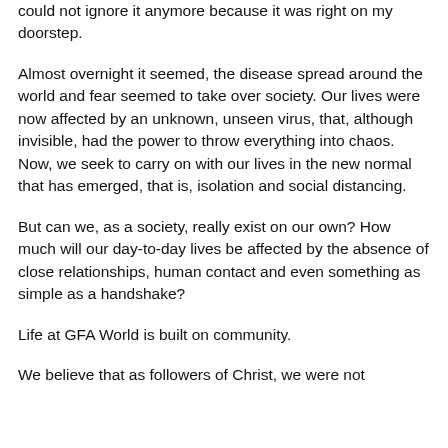could not ignore it anymore because it was right on my doorstep.
Almost overnight it seemed, the disease spread around the world and fear seemed to take over society. Our lives were now affected by an unknown, unseen virus, that, although invisible, had the power to throw everything into chaos. Now, we seek to carry on with our lives in the new normal that has emerged, that is, isolation and social distancing.
But can we, as a society, really exist on our own? How much will our day-to-day lives be affected by the absence of close relationships, human contact and even something as simple as a handshake?
Life at GFA World is built on community.
We believe that as followers of Christ, we were not